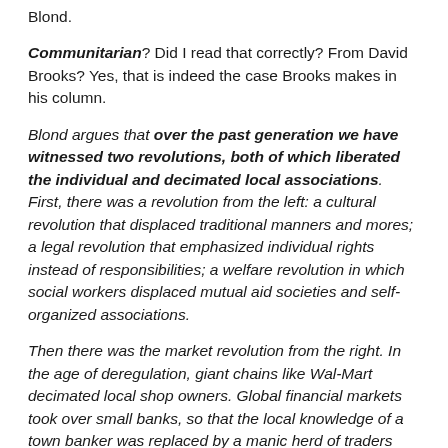Blond.
Communitarian? Did I read that correctly? From David Brooks? Yes, that is indeed the case Brooks makes in his column.
Blond argues that over the past generation we have witnessed two revolutions, both of which liberated the individual and decimated local associations. First, there was a revolution from the left: a cultural revolution that displaced traditional manners and mores; a legal revolution that emphasized individual rights instead of responsibilities; a welfare revolution in which social workers displaced mutual aid societies and self-organized associations.
Then there was the market revolution from the right. In the age of deregulation, giant chains like Wal-Mart decimated local shop owners. Global financial markets took over small banks, so that the local knowledge of a town banker was replaced by a manic herd of traders thousands of miles away. Unions withered.
The two revolutions talked the language of individual